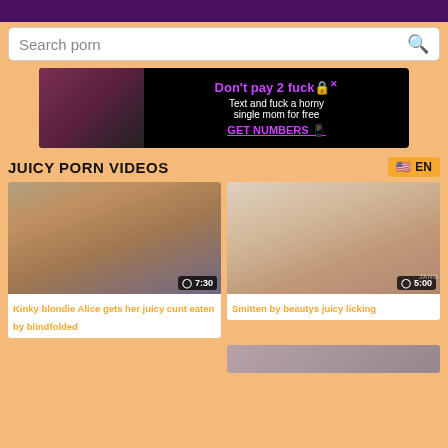Search porn
[Figure (photo): Advertisement banner: woman with red hair and glasses on left side. Black background with text: Don't pay 2 fuck - Text and fuck a horny single mom for free - GET NUMBERS with phone icon]
JUICY PORN VIDEOS
EN
[Figure (photo): Video thumbnail showing a blonde woman in pink top with a man in striped shirt. Duration badge: 7:30]
Kinky blondie Alice gets her juicy cunt eaten by blindfolded
[Figure (photo): Video thumbnail showing close-up of female torso. Duration badge: 5:00. Watermark: JANG]
Smitten by beautys juicy licking